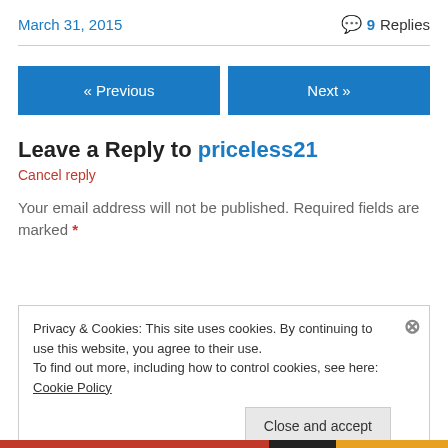March 31, 2015   💬 9 Replies
« Previous   Next »
Leave a Reply to priceless21
Cancel reply
Your email address will not be published. Required fields are marked *
Privacy & Cookies: This site uses cookies. By continuing to use this website, you agree to their use.
To find out more, including how to control cookies, see here: Cookie Policy
Close and accept